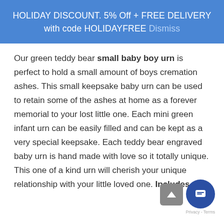HOLIDAY DISCOUNT. 5% Off + FREE DELIVERY with code HOLIDAYFREE Dismiss
Our green teddy bear small baby boy urn is perfect to hold a small amount of boys cremation ashes. This small keepsake baby urn can be used to retain some of the ashes at home as a forever memorial to your lost little one. Each mini green infant urn can be easily filled and can be kept as a very special keepsake. Each teddy bear engraved baby urn is hand made with love so it totally unique. This one of a kind urn will cherish your unique relationship with your little loved one. Includes a